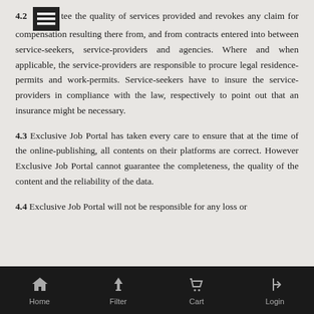4.2 Exclusive Job Portal accepts absolutely no responsibility to guarantee the quality of services provided and revokes any claim for compensation resulting there from, and from contracts entered into between service-seekers, service-providers and agencies. Where and when applicable, the service-providers are responsible to procure legal residence-permits and work-permits. Service-seekers have to insure the service-providers in compliance with the law, respectively to point out that an insurance might be necessary.
4.3 Exclusive Job Portal has taken every care to ensure that at the time of the online-publishing, all contents on their platforms are correct. However Exclusive Job Portal cannot guarantee the completeness, the quality of the content and the reliability of the data.
4.4 Exclusive Job Portal will not be responsible for any loss or
Home  Filter  Cart  Login